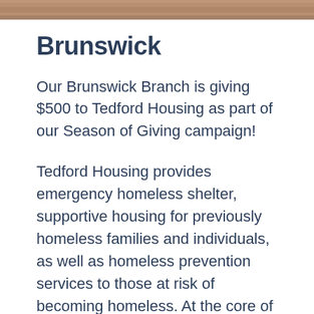[Figure (photo): Partial photo strip at the top of the page, showing a cropped image]
Brunswick
Our Brunswick Branch is giving $500 to Tedford Housing as part of our Season of Giving campaign!
Tedford Housing provides emergency homeless shelter, supportive housing for previously homeless families and individuals, as well as homeless prevention services to those at risk of becoming homeless. At the core of